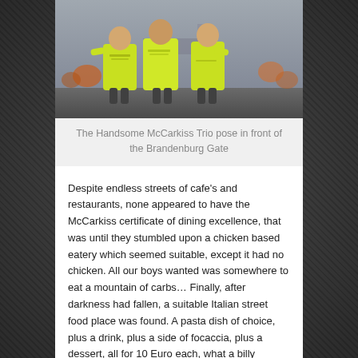[Figure (photo): Three people in neon yellow/green running shirts posing in front of the Brandenburg Gate area, with a crowd visible in the background.]
The Handsome McCarkiss Trio pose in front of the Brandenburg Gate
Despite endless streets of cafe’s and restaurants, none appeared to have the McCarkiss certificate of dining excellence, that was until they stumbled upon a chicken based eatery which seemed suitable, except it had no chicken. All our boys wanted was somewhere to eat a mountain of carbs… Finally, after darkness had fallen, a suitable Italian street food place was found. A pasta dish of choice, plus a drink, plus a side of focaccia, plus a dessert, all for 10 Euro each, what a billy bargain! As Simkiss declared he could’ve comfortably eaten that 4-5 times over, the theory that his ~2 stone weight delta to Adcock & Jordan might be down to portion control perhaps held some merit.